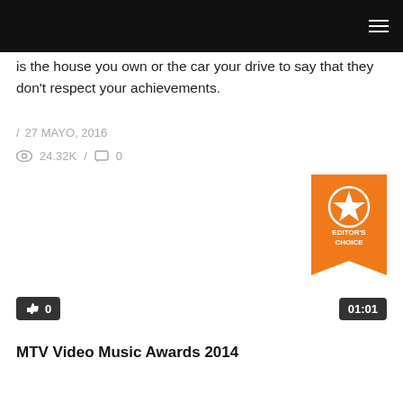Navigation header bar with hamburger menu
is the house you own or the car your drive to say that they don't respect your achievements.
/ 27 MAYO, 2016
24.32K / 0
[Figure (illustration): Editor's Choice badge — orange ribbon/banner with star icon and text EDITOR'S CHOICE]
[Figure (screenshot): Video thumbnail area with like count badge showing 0 and duration badge showing 01:01]
MTV Video Music Awards 2014
...